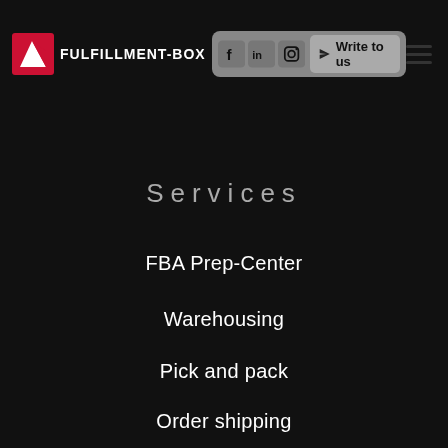FULFILLMENT-BOX | Write to us
Services
FBA Prep-Center
Warehousing
Pick and pack
Order shipping
Returns management
Support for registration of LUCID